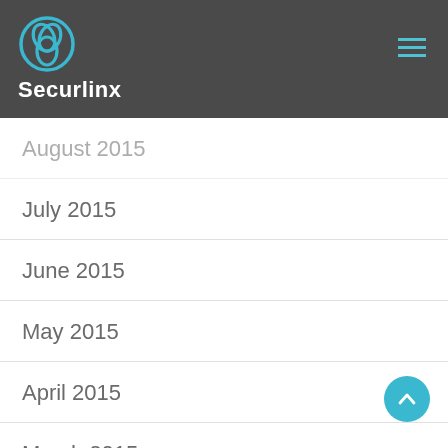Securlinx
August 2015
July 2015
June 2015
May 2015
April 2015
March 2015
February 2015
January 2015
December 2014